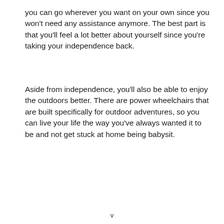you can go wherever you want on your own since you won't need any assistance anymore. The best part is that you'll feel a lot better about yourself since you're taking your independence back.
Aside from independence, you'll also be able to enjoy the outdoors better. There are power wheelchairs that are built specifically for outdoor adventures, so you can live your life the way you've always wanted it to be and not get stuck at home being babysit.
v